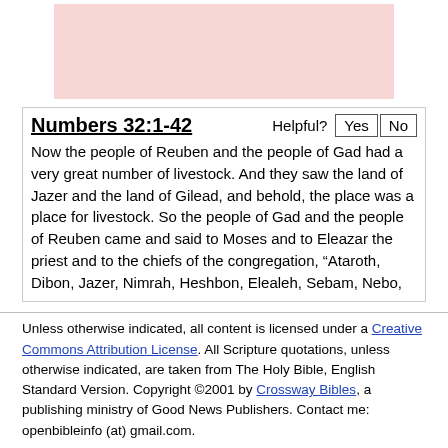[Figure (other): Pink/salmon colored rectangular box at top of page]
Numbers 32:1-42
Now the people of Reuben and the people of Gad had a very great number of livestock. And they saw the land of Jazer and the land of Gilead, and behold, the place was a place for livestock. So the people of Gad and the people of Reuben came and said to Moses and to Eleazar the priest and to the chiefs of the congregation, “Ataroth, Dibon, Jazer, Nimrah, Heshbon, Elealeh, Sebam, Nebo,
Unless otherwise indicated, all content is licensed under a Creative Commons Attribution License. All Scripture quotations, unless otherwise indicated, are taken from The Holy Bible, English Standard Version. Copyright ©2001 by Crossway Bibles, a publishing ministry of Good News Publishers. Contact me: openbibleinfo (at) gmail.com.